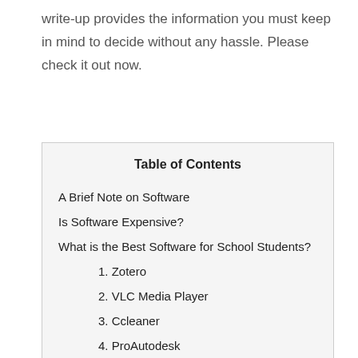write-up provides the information you must keep in mind to decide without any hassle. Please check it out now.
Table of Contents
A Brief Note on Software
Is Software Expensive?
What is the Best Software for School Students?
1. Zotero
2. VLC Media Player
3. Ccleaner
4. ProAutodesk
5. Prey
6. Microsoft Visio
7. OneNote